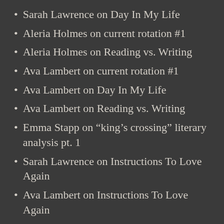Sarah Lawrence on Day In My Life
Aleria Holmes on current rotation #1
Aleria Holmes on Reading vs. Writing
Ava Lambert on current rotation #1
Ava Lambert on Day In My Life
Ava Lambert on Reading vs. Writing
Emma Stapp on “king’s crossing” literary analysis pt. 1
Sarah Lawrence on Instructions To Love Again
Ava Lambert on Instructions To Love Again
Aleria Holmes on “king’s crossing” literary analysis pt. 1
Erin Erter on MSA, meet Sarah
Sarah Lawrence on Understanding literature
Aleria Holmes on Understanding literature